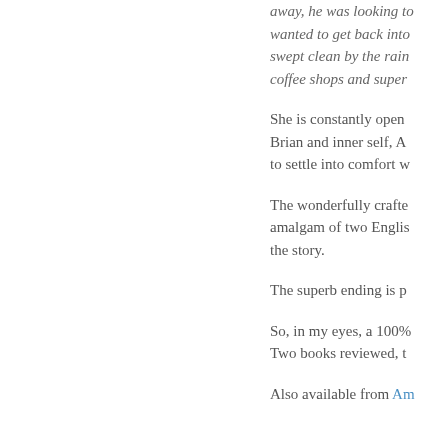away, he was looking to get back into swept clean by the rain, coffee shops and super
She is constantly open Brian and inner self, A to settle into comfort w
The wonderfully crafte amalgam of two Englis the story.
The superb ending is p
So, in my eyes, a 100% Two books reviewed, t
Also available from Am